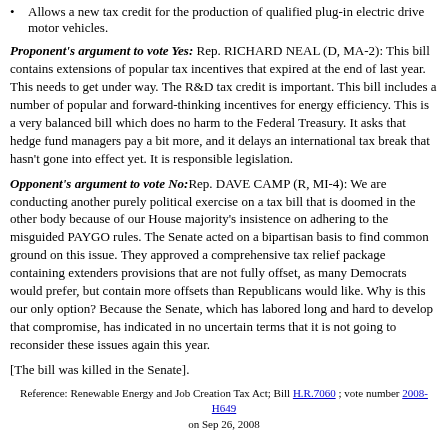Allows a new tax credit for the production of qualified plug-in electric drive motor vehicles.
Proponent's argument to vote Yes: Rep. RICHARD NEAL (D, MA-2): This bill contains extensions of popular tax incentives that expired at the end of last year. This needs to get under way. The R&D tax credit is important. This bill includes a number of popular and forward-thinking incentives for energy efficiency. This is a very balanced bill which does no harm to the Federal Treasury. It asks that hedge fund managers pay a bit more, and it delays an international tax break that hasn't gone into effect yet. It is responsible legislation.
Opponent's argument to vote No: Rep. DAVE CAMP (R, MI-4): We are conducting another purely political exercise on a tax bill that is doomed in the other body because of our House majority's insistence on adhering to the misguided PAYGO rules. The Senate acted on a bipartisan basis to find common ground on this issue. They approved a comprehensive tax relief package containing extenders provisions that are not fully offset, as many Democrats would prefer, but contain more offsets than Republicans would like. Why is this our only option? Because the Senate, which has labored long and hard to develop that compromise, has indicated in no uncertain terms that it is not going to reconsider these issues again this year.
[The bill was killed in the Senate].
Reference: Renewable Energy and Job Creation Tax Act; Bill H.R.7060 ; vote number 2008-H649 on Sep 26, 2008